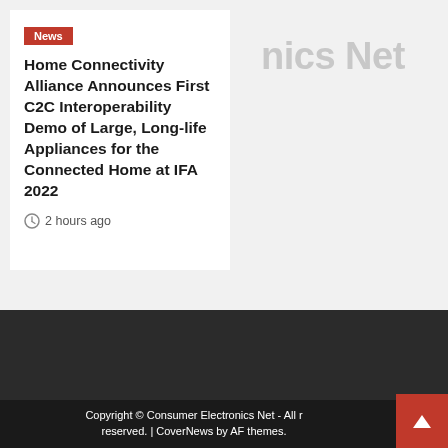News
Home Connectivity Alliance Announces First C2C Interoperability Demo of Large, Long-life Appliances for the Connected Home at IFA 2022
2 hours ago
nics Net
Copyright © Consumer Electronics Net - All r reserved. | CoverNews by AF themes.